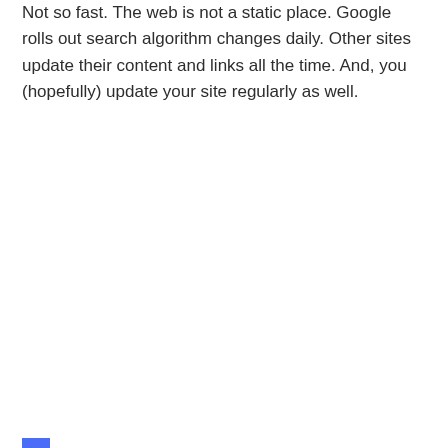Not so fast. The web is not a static place. Google rolls out search algorithm changes daily. Other sites update their content and links all the time. And, you (hopefully) update your site regularly as well.